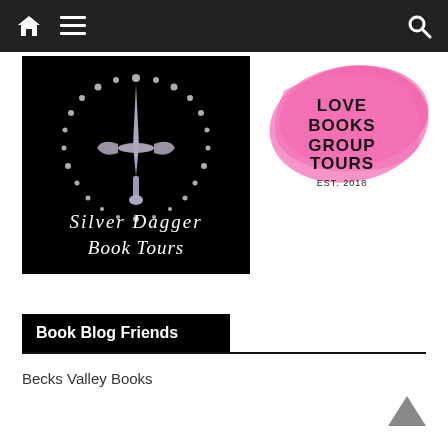Navigation bar with home, menu, and search icons
[Figure (logo): Silver Dagger Book Tours logo: black background with a sparkling dagger surrounded by a circle of dots, text 'SILVER DAGGER BOOK TOURS' in white serif font]
[Figure (logo): Love Books Group Tours logo: pink brushstroke background with black text 'LOVE BOOKS GROUP TOURS EST. 2018']
Book Blog Friends
Becks Valley Books